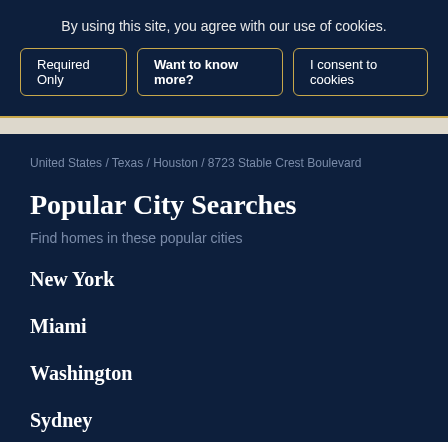By using this site, you agree with our use of cookies.
Required Only | Want to know more? | I consent to cookies
United States / Texas / Houston / 8723 Stable Crest Boulevard
Popular City Searches
Find homes in these popular cities
New York
Miami
Washington
Sydney